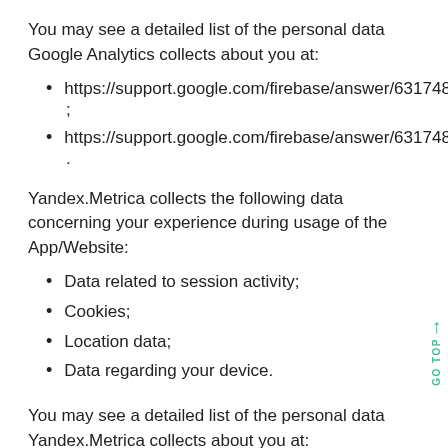You may see a detailed list of the personal data Google Analytics collects about you at:
https://support.google.com/firebase/answer/6317485 ;
https://support.google.com/firebase/answer/6317486 .
Yandex.Metrica collects the following data concerning your experience during usage of the App/Website:
Data related to session activity;
Cookies;
Location data;
Data regarding your device.
You may see a detailed list of the personal data Yandex.Metrica collects about you at: